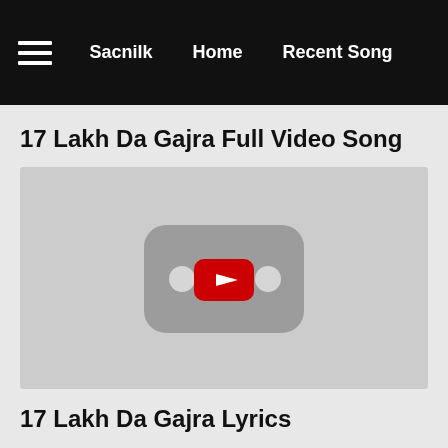Sacnilk  Home  Recent Song
17 Lakh Da Gajra Full Video Song
[Figure (screenshot): YouTube video placeholder with YouTube logo icon and play button in center on gray background]
17 Lakh Da Gajra Lyrics